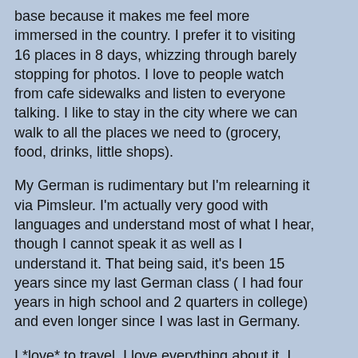base because it makes me feel more immersed in the country.  I prefer it to visiting 16 places in 8 days, whizzing through barely stopping for photos.  I love to people watch from cafe sidewalks and listen to everyone talking.  I like to stay in the city where we can walk to all the places we need to (grocery, food, drinks, little shops).
My German is rudimentary but I'm relearning it via Pimsleur.  I'm actually very good with languages and understand most of what I hear, though I cannot speak it as well as I understand it.  That being said, it's been 15 years since my last German class ( I had four years in high school and 2 quarters in college) and even longer since I was last in Germany.
I *love* to travel.  I love everything about it.  I love packing, I love flying, I love landing in an airport where I've never been.  I love exploring, I love trying to figure out what signage means, what people are saying to me and I even love fumbling around a language I haven't used in ages.
My husband is not quite the same way.  He does not know German and he travels to say that he's been somewhere and